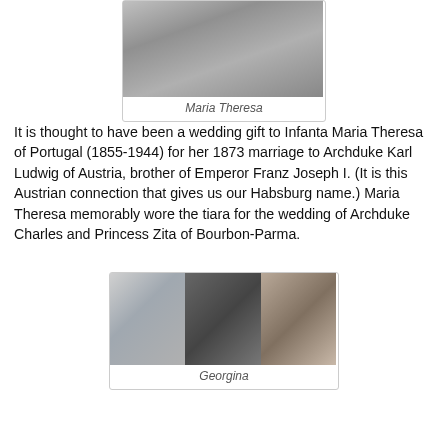[Figure (photo): Black and white photo of Maria Theresa, partial upper body portrait]
Maria Theresa
It is thought to have been a wedding gift to Infanta Maria Theresa of Portugal (1855-1944) for her 1873 marriage to Archduke Karl Ludwig of Austria, brother of Emperor Franz Joseph I. (It is this Austrian connection that gives us our Habsburg name.) Maria Theresa memorably wore the tiara for the wedding of Archduke Charles and Princess Zita of Bourbon-Parma.
[Figure (photo): Three side-by-side photos of Georgina wearing a tiara — left: color photo facing forward, center: black and white profile photo, right: color photo facing slightly right]
Georgina